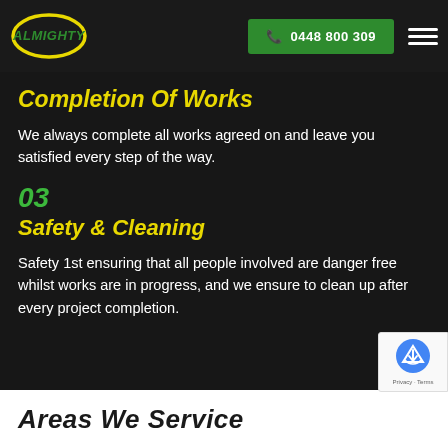[Figure (logo): Almighty logo — yellow oval with green text]
📞 0448 800 309
Completion Of Works
We always complete all works agreed on and leave you satisfied every step of the way.
03
Safety & Cleaning
Safety 1st ensuring that all people involved are danger free whilst works are in progress, and we ensure to clean up after every project completion.
Areas We Service